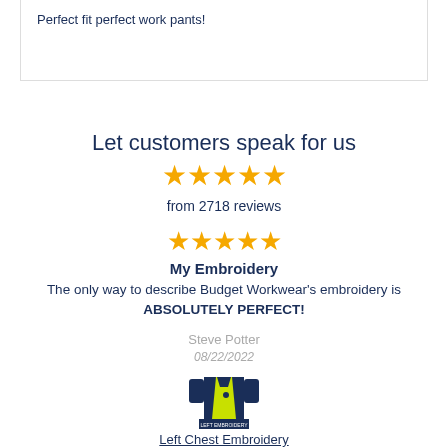Perfect fit perfect work pants!
Let customers speak for us
★★★★★
from 2718 reviews
★★★★★
My Embroidery
The only way to describe Budget Workwear's embroidery is ABSOLUTELY PERFECT!
Steve Potter
08/22/2022
[Figure (illustration): Product image of a hi-vis yellow and navy workwear jacket with 'LEFT EMBROIDERY' label below]
Left Chest Embroidery